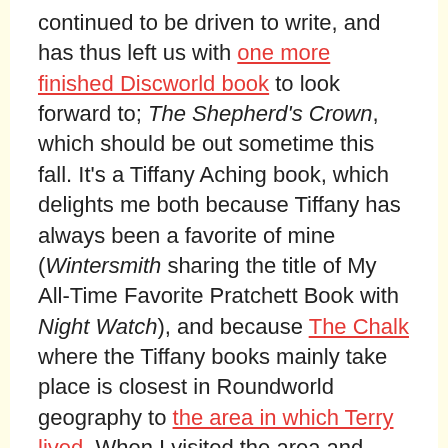continued to be driven to write, and has thus left us with one more finished Discworld book to look forward to; The Shepherd's Crown, which should be out sometime this fall. It's a Tiffany Aching book, which delights me both because Tiffany has always been a favorite of mine (Wintersmith sharing the title of My All-Time Favorite Pratchett Book with Night Watch), and because The Chalk where the Tiffany books mainly take place is closest in Roundworld geography to the area in which Terry lived. When I visited the area and walked out to Old Sarum and the surrounding area after reading the Tiffany books, I experienced the odd sensation of seeing The Chalk through Terry's eyes and storytelling, and feeling the overlay of his magical fiction on the reality I walked through – or, to put it in more Pratchettian terms, feeling the thinning of the fabric of reality between the Discworld and Roundworld. For that experience as well as the beauty of the area and the feeling that, like Tiffany, Terry was